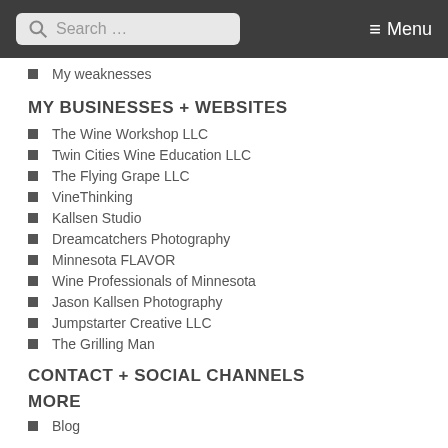Search ... Menu
My weaknesses
MY BUSINESSES + WEBSITES
The Wine Workshop LLC
Twin Cities Wine Education LLC
The Flying Grape LLC
VineThinking
Kallsen Studio
Dreamcatchers Photography
Minnesota FLAVOR
Wine Professionals of Minnesota
Jason Kallsen Photography
Jumpstarter Creative LLC
The Grilling Man
CONTACT + SOCIAL CHANNELS
MORE
Blog